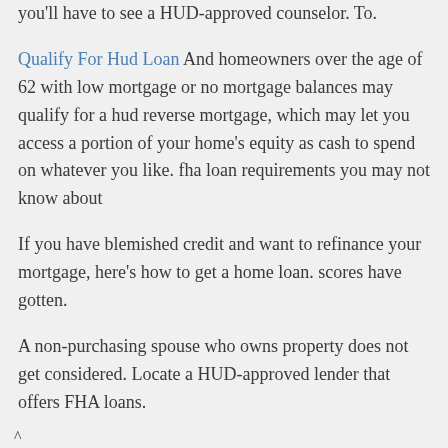you'll have to see a HUD-approved counselor. To.
Qualify For Hud Loan And homeowners over the age of 62 with low mortgage or no mortgage balances may qualify for a hud reverse mortgage, which may let you access a portion of your home's equity as cash to spend on whatever you like. fha loan requirements you may not know about
If you have blemished credit and want to refinance your mortgage, here's how to get a home loan. scores have gotten.
A non-purchasing spouse who owns property does not get considered. Locate a HUD-approved lender that offers FHA loans.
^